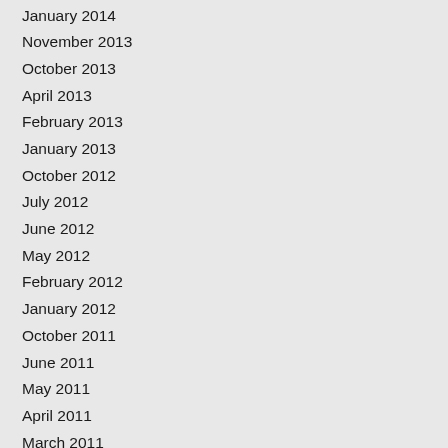January 2014
November 2013
October 2013
April 2013
February 2013
January 2013
October 2012
July 2012
June 2012
May 2012
February 2012
January 2012
October 2011
June 2011
May 2011
April 2011
March 2011
February 2011
January 2011